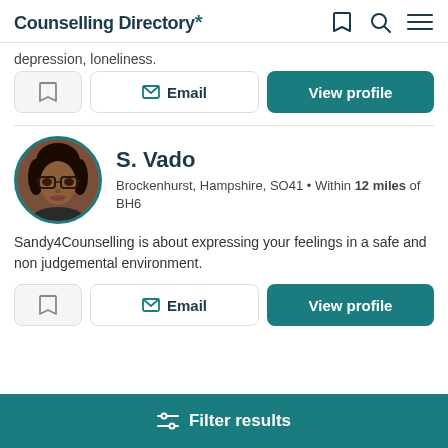Counselling Directory
depression, loneliness.
Email | View profile
S. Vado
Brockenhurst, Hampshire, SO41 • Within 12 miles of BH6
[Figure (photo): Profile photo of S. Vado, a woman wearing glasses, circular cropped with teal border]
Sandy4Counselling is about expressing your feelings in a safe and non judgemental environment.
Email | View profile
Filter results